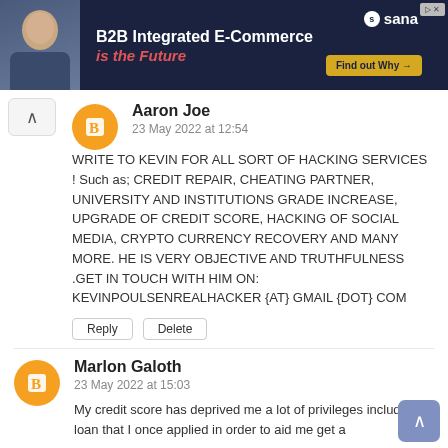[Figure (screenshot): Advertisement banner for Sana: B2B Integrated E-Commerce is the Future, with Find out Why button]
Aaron Joe
23 May 2022 at 12:54
WRITE TO KEVIN FOR ALL SORT OF HACKING SERVICES ! Such as; CREDIT REPAIR, CHEATING PARTNER, UNIVERSITY AND INSTITUTIONS GRADE INCREASE, UPGRADE OF CREDIT SCORE, HACKING OF SOCIAL MEDIA, CRYPTO CURRENCY RECOVERY AND MANY MORE. HE IS VERY OBJECTIVE AND TRUTHFULNESS .GET IN TOUCH WITH HIM ON: KEVINPOULSENREALHACKER {AT} GMAIL {DOT} COM
Marlon Galoth
23 May 2022 at 15:03
My credit score has deprived me a lot of privileges including a loan that I once applied in order to aid me get a